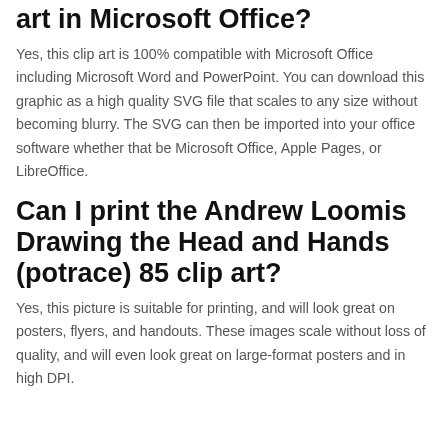art in Microsoft Office?
Yes, this clip art is 100% compatible with Microsoft Office including Microsoft Word and PowerPoint. You can download this graphic as a high quality SVG file that scales to any size without becoming blurry. The SVG can then be imported into your office software whether that be Microsoft Office, Apple Pages, or LibreOffice.
Can I print the Andrew Loomis Drawing the Head and Hands (potrace) 85 clip art?
Yes, this picture is suitable for printing, and will look great on posters, flyers, and handouts. These images scale without loss of quality, and will even look great on large-format posters and in high DPI.